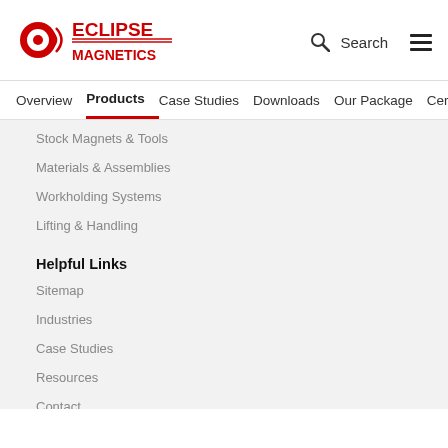[Figure (logo): Eclipse Magnetics logo with red C and radio wave icon, red bold text ECLIPSE MAGNETICS]
Search [hamburger menu]
Overview  Products  Case Studies  Downloads  Our Package  Certifica...
Stock Magnets & Tools
Materials & Assemblies
Workholding Systems
Lifting & Handling
Helpful Links
Sitemap
Industries
Case Studies
Resources
Contact
Social
Facebook
Twitter
LinkedIn